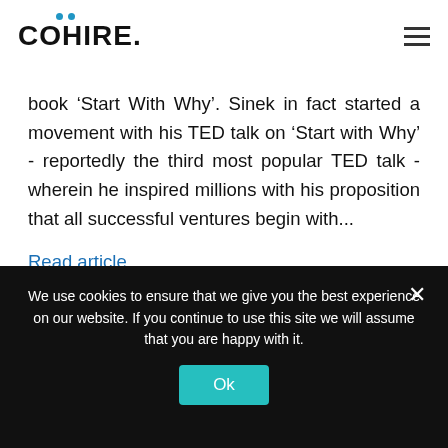COHIIRE
book ‘Start With Why’. Sinek in fact started a movement with his TED talk on ‘Start with Why’ - reportedly the third most popular TED talk - wherein he inspired millions with his proposition that all successful ventures begin with...
Read article
We use cookies to ensure that we give you the best experience on our website. If you continue to use this site we will assume that you are happy with it.